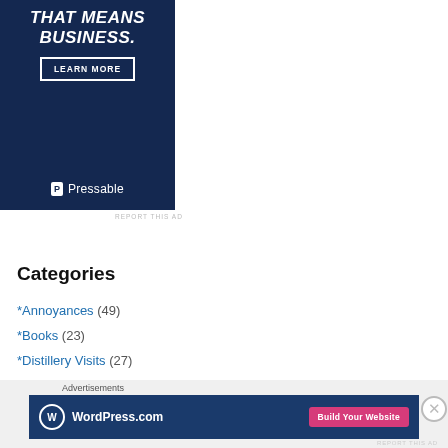[Figure (other): Pressable advertisement banner with dark navy background, italic bold white text partially visible 'THAT MEANS BUSINESS.', a 'LEARN MORE' button with white border, and Pressable logo at bottom]
REPORT THIS AD
Categories
*Annoyances (49)
*Books (23)
*Distillery Visits (27)
[Figure (other): WordPress.com advertisement banner with navy background, WordPress logo, text 'WordPress.com', and pink 'Build Your Website' button]